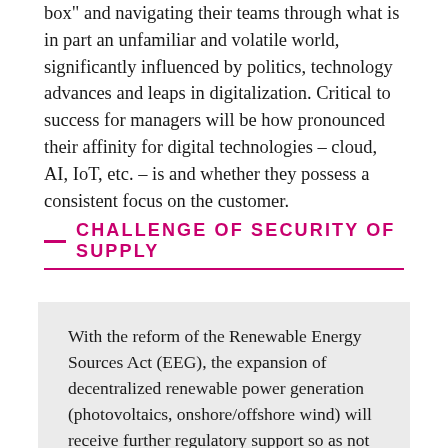box" and navigating their teams through what is in part an unfamiliar and volatile world, significantly influenced by politics, technology advances and leaps in digitalization. Critical to success for managers will be how pronounced their affinity for digital technologies – cloud, AI, IoT, etc. – is and whether they possess a consistent focus on the customer.
CHALLENGE OF SECURITY OF SUPPLY
With the reform of the Renewable Energy Sources Act (EEG), the expansion of decentralized renewable power generation (photovoltaics, onshore/offshore wind) will receive further regulatory support so as not to jeopardize such an ambitious expansion plan. Both the switch to distributed renewable generation sources and increasingly digitally optimized customer